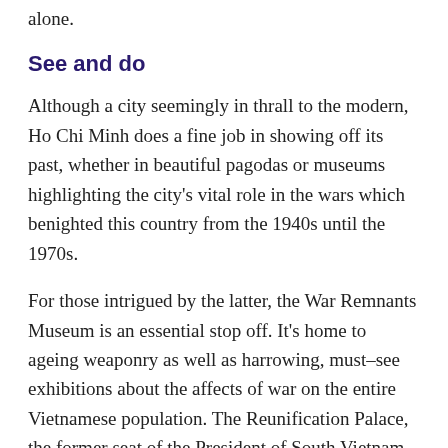alone.
See and do
Although a city seemingly in thrall to the modern, Ho Chi Minh does a fine job in showing off its past, whether in beautiful pagodas or museums highlighting the city's vital role in the wars which benighted this country from the 1940s until the 1970s.
For those intrigued by the latter, the War Remnants Museum is an essential stop off. It's home to ageing weaponry as well as harrowing, must–see exhibitions about the affects of war on the entire Vietnamese population. The Reunification Palace, the former seat of the President of South Vietnam, is well worth exploring, its period design kept just as it was when the country was divided in two.
Notre Dame cathedral is one of Ho Chi Minh's most obvious sights, its towers peeping out among lush trees. Over the road is the Old Post Office, a piece of masterful design by